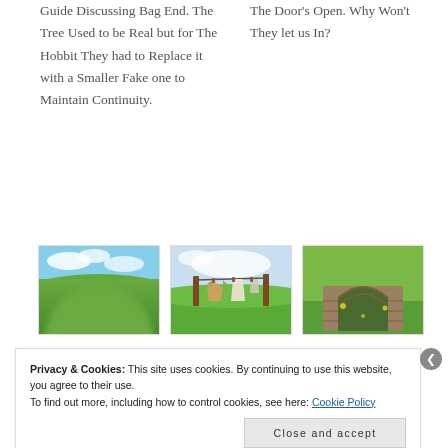Guide Discussing Bag End. The Tree Used to be Real but for The Hobbit They had to Replace it with a Smaller Fake one to Maintain Continuity.
The Door's Open. Why Won't They let us In?
[Figure (photo): Rolling green hills of Hobbiton set location]
[Figure (photo): Clothesline with garments hanging outdoors on green hill]
[Figure (photo): Stone arch set piece embedded in grassy hill]
Privacy & Cookies: This site uses cookies. By continuing to use this website, you agree to their use. To find out more, including how to control cookies, see here: Cookie Policy
Close and accept